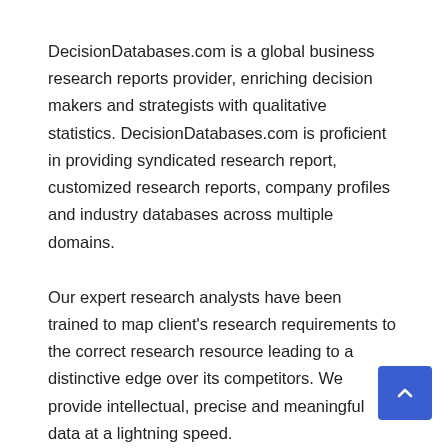DecisionDatabases.com is a global business research reports provider, enriching decision makers and strategists with qualitative statistics. DecisionDatabases.com is proficient in providing syndicated research report, customized research reports, company profiles and industry databases across multiple domains.
Our expert research analysts have been trained to map client's research requirements to the correct research resource leading to a distinctive edge over its competitors. We provide intellectual, precise and meaningful data at a lightning speed.
For more details: